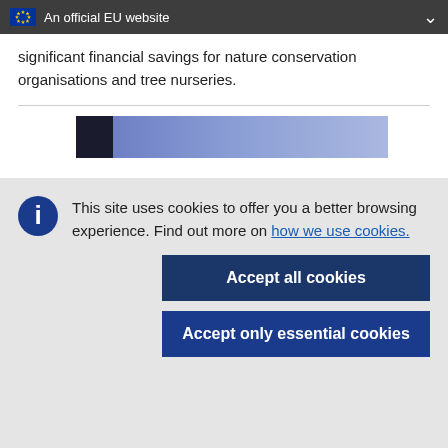An official EU website
significant financial savings for nature conservation organisations and tree nurseries.
[Figure (photo): Partial view of a photo with blue/dark tones, cut off at bottom of visible area]
This site uses cookies to offer you a better browsing experience. Find out more on how we use cookies.
Accept all cookies
Accept only essential cookies